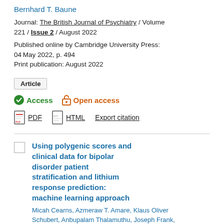Bernhard T. Baune
Journal: The British Journal of Psychiatry / Volume 221 / Issue 2 / August 2022
Published online by Cambridge University Press: 04 May 2022, p. 494
Print publication: August 2022
Article
Access   Open access
PDF   HTML   Export citation
Using polygenic scores and clinical data for bipolar disorder patient stratification and lithium response prediction: machine learning approach
Micah Cearns, Azmeraw T. Amare, Klaus Oliver Schubert, Anbupalam Thalamuthu, Joseph Frank, Fabian Streit, Mazda Adli, Nirmala Akula, Kazufumi Akiyama, Raffaella Ardau, Bárbara Arias, ...